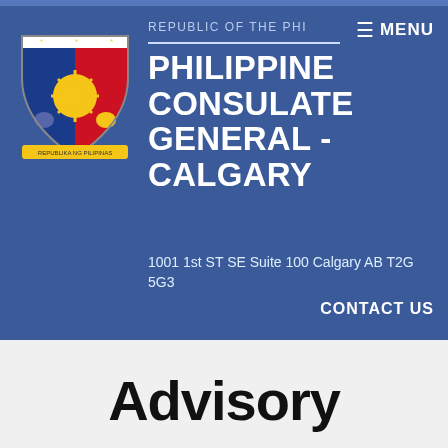REPUBLIC OF THE PHI
[Figure (logo): Philippine coat of arms / seal with 'Republika ng Pilipinas' banner]
PHILIPPINE CONSULATE GENERAL - CALGARY
1001 1st ST SE Suite 100 Calgary AB T2G 5G3
CONTACT US
Advisory